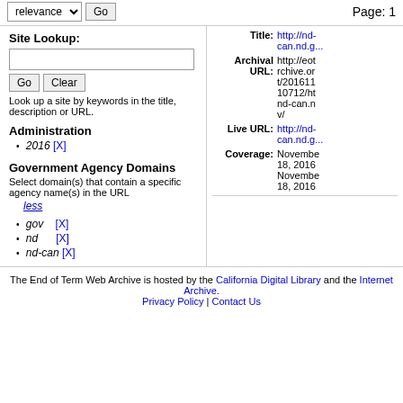relevance   Go    Page: 1
Site Lookup:
Look up a site by keywords in the title, description or URL.
Administration
2016 [X]
Government Agency Domains
Select domain(s) that contain a specific agency name(s) in the URL
less
gov   [X]
nd    [X]
nd-can [X]
Title: http://nd-can.nd.g...
Archival URL: http://eot...rchive.or...t/201611...10712/ht...nd-can.n...v/
Live URL: http://nd-can.nd.g...
Coverage: November 18, 2016 - November 18, 2016
The End of Term Web Archive is hosted by the California Digital Library and the Internet Archive. Privacy Policy | Contact Us